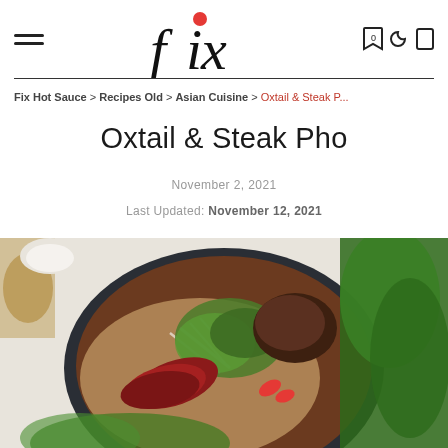fix [logo] — navigation header with hamburger menu and icons
Fix Hot Sauce > Recipes Old > Asian Cuisine > Oxtail & Steak P...
Oxtail & Steak Pho
November 2, 2021
Last Updated: November 12, 2021
[Figure (photo): Overhead close-up photo of a bowl of pho with sliced steak, oxtail, bean sprouts, cilantro, red chili pepper slices, and rice noodles in dark broth, surrounded by fresh herbs and accompaniments on a white background.]